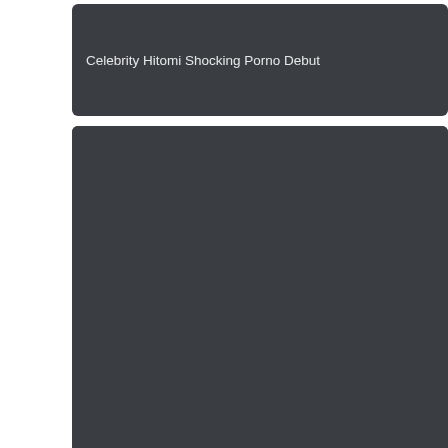Celebrity Hitomi Shocking Porno Debut
[Figure (photo): Dark placeholder image card with title: Porno Roccos Star Facefuck CIM]
[Figure (photo): Dark placeholder image card (bottom, partially visible, no title shown)]